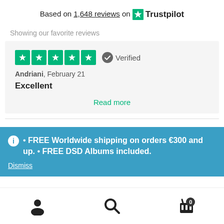Based on 1,648 reviews on Trustpilot
Showing our favorite reviews
Andriani, February 21
Excellent
Read more
• FREE Worldwide shipping on orders €300 and up. • FREE DSD Albums included.
Dismiss
[Figure (other): Bottom navigation bar with user account icon, search icon, and shopping cart icon with badge showing 0]